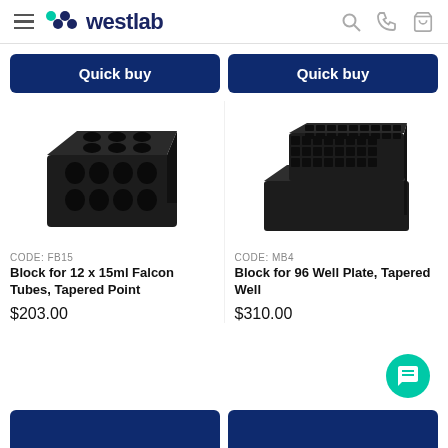westlab
Quick buy | Quick buy
[Figure (photo): Black aluminum block for 12 x 15ml Falcon Tubes with tapered point holes]
CODE: FB15
Block for 12 x 15ml Falcon Tubes, Tapered Point
$203.00
[Figure (photo): Black aluminum block for 96 Well Plate with tapered well]
CODE: MB4
Block for 96 Well Plate, Tapered Well
$310.00
Quick buy | Quick buy